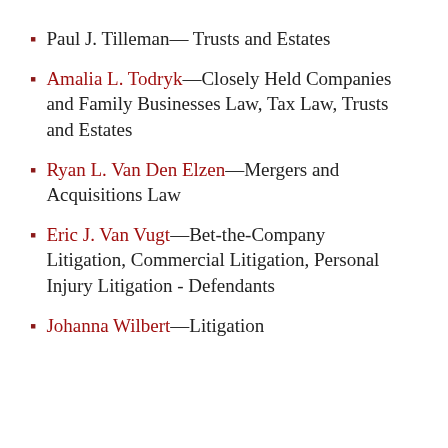Paul J. Tilleman— Trusts and Estates
Amalia L. Todryk—Closely Held Companies and Family Businesses Law, Tax Law, Trusts and Estates
Ryan L. Van Den Elzen—Mergers and Acquisitions Law
Eric J. Van Vugt—Bet-the-Company Litigation, Commercial Litigation, Personal Injury Litigation - Defendants
Johanna Wilbert—Litigation